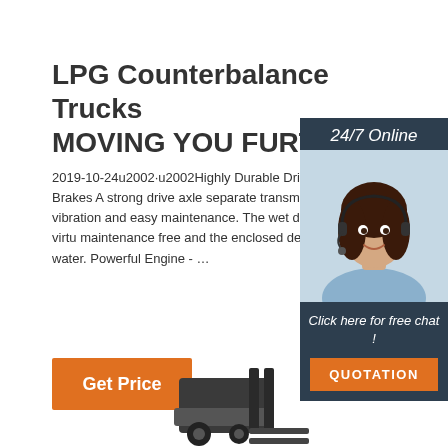LPG Counterbalance Trucks MOVING YOU FURTHER
2019-10-24u2002·u2002Highly Durable Drive Wet Disc Brakes A strong drive axle separate transmission ensures low vibration and easy maintenance. The wet disc brae system is virtually maintenance free and the enclosed design pro dust and water. Powerful Engine - …
[Figure (photo): Woman with headset smiling, customer service representative, with '24/7 Online' header and 'Click here for free chat!' and 'QUOTATION' button overlay]
[Figure (photo): Forklift truck front view, partially visible at bottom of page]
Get Price